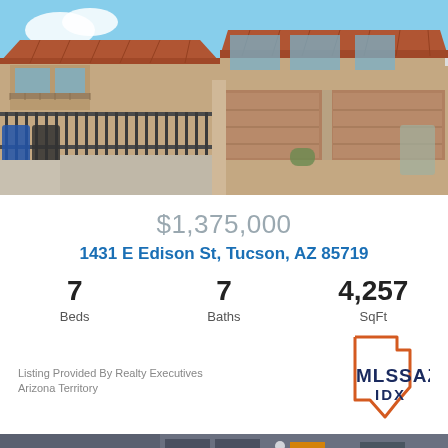[Figure (photo): Two-story stucco home with terracotta tile roof, two-car garage with brown garage doors, iron gate fence in front, blue sky background]
$1,375,000
1431 E Edison St, Tucson, AZ 85719
7 Beds
7 Baths
4,257 SqFt
[Figure (logo): MLSSAZ IDX logo with Arizona state outline in orange]
Listing Provided By Realty Executives Arizona Territory
[Figure (photo): Partial view of another property listing - dark exterior with yellow/orange front door]